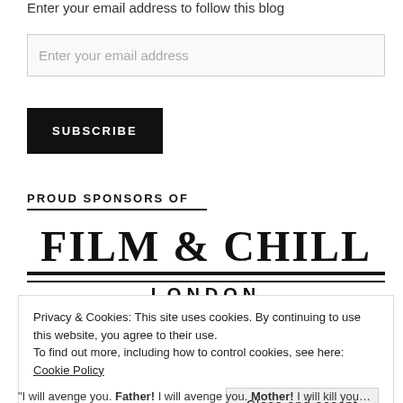Enter your email address to follow this blog
Enter your email address
SUBSCRIBE
PROUD SPONSORS OF
[Figure (logo): Film & Chill London logo — large bold serif text reading 'FILM & CHILL' with double horizontal rule beneath and 'LONDON' in spaced capitals below]
Privacy & Cookies: This site uses cookies. By continuing to use this website, you agree to their use.
To find out more, including how to control cookies, see here: Cookie Policy
Close and accept
"I will avenge you. Father! I will avenge you. Mother! I will kill you…